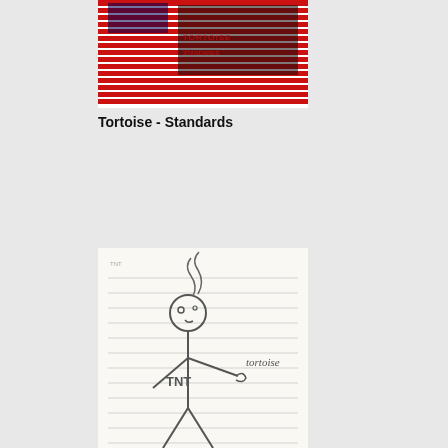[Figure (illustration): Album cover for Tortoise - Standards. Features red and white horizontal stripes with dark overlaid text/imagery in the center.]
Tortoise - Standards
[Figure (illustration): Album cover for Tortoise - TNT. Features a white lined notebook paper background with a hand-drawn stick figure holding a hand out with the word 'tortoise' written in script, and 'TNT' written on the figure's body. Wavy lines rise from the figure's head like smoke.]
Tortoise - TNT